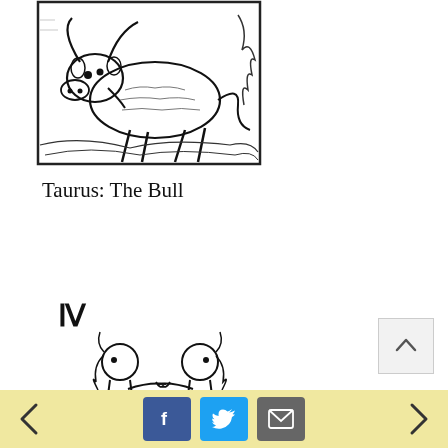[Figure (illustration): Woodcut-style black and white illustration of a bull (Taurus zodiac symbol), shown in profile facing right with horns, decorative background of plants and architectural elements]
Taurus: The Bull
[Figure (illustration): Gemini zodiac symbol (II) above a woodcut-style black and white illustration of two figures (twins) facing each other, partially visible, cut off at bottom of page]
[Figure (infographic): Footer bar with navigation arrows (left and right), Facebook share button, Twitter share button, and email share button on a pale yellow background]